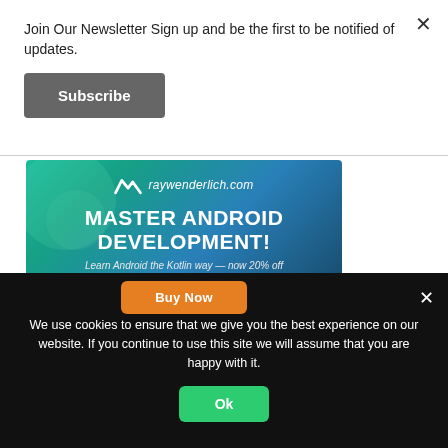Join Our Newsletter Sign up and be the first to be notified of updates.
Subscribe
[Figure (infographic): raywenderlich.com advertisement banner with gradient green-to-blue background, logo, large text 'MASTER ANDROID DEVELOPMENT!', subtitle 'Learn Android the Kotlin way — now 20% off', and orange 'Buy Now' button]
We use cookies to ensure that we give you the best experience on our website. If you continue to use this site we will assume that you are happy with it.
Ok